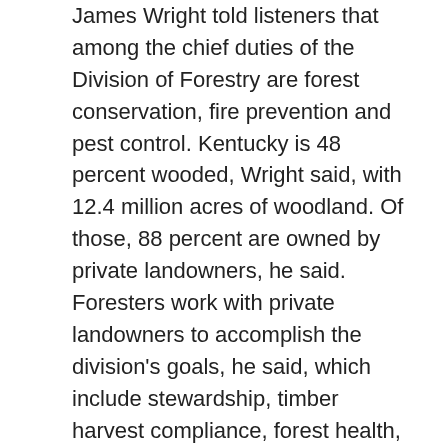James Wright told listeners that among the chief duties of the Division of Forestry are forest conservation, fire prevention and pest control. Kentucky is 48 percent wooded, Wright said, with 12.4 million acres of woodland. Of those, 88 percent are owned by private landowners, he said. Foresters work with private landowners to accomplish the division's goals, he said, which include stewardship, timber harvest compliance, forest health, urban and community forestry, public outreach, nursery operations, state forest management.
Dennis Hatfield, director of the Division of Oil and Gas, told the audience that the division regulates all phases of oil and gas production in the state. It protects citizens and encourages the conservation and valuable use of this resource.